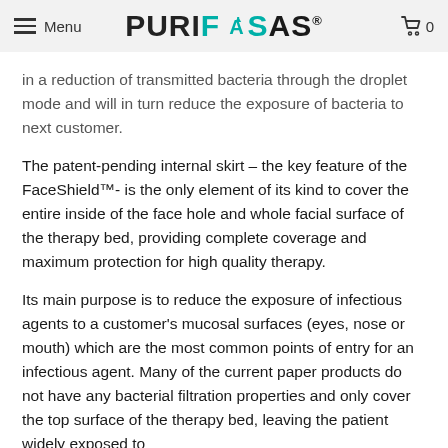Menu | PURIFAS® | 0
in a reduction of transmitted bacteria through the droplet mode and will in turn reduce the exposure of bacteria to next customer.
The patent-pending internal skirt – the key feature of the FaceShield™- is the only element of its kind to cover the entire inside of the face hole and whole facial surface of the therapy bed, providing complete coverage and maximum protection for high quality therapy.
Its main purpose is to reduce the exposure of infectious agents to a customer's mucosal surfaces (eyes, nose or mouth) which are the most common points of entry for an infectious agent. Many of the current paper products do not have any bacterial filtration properties and only cover the top surface of the therapy bed, leaving the patient widely exposed to